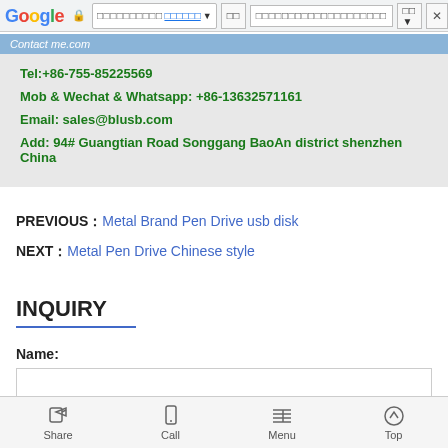[Figure (screenshot): Google browser toolbar with address bar, search bar, and navigation buttons]
Contact me.com
Tel:+86-755-85225569
Mob & Wechat & Whatsapp: +86-13632571161
Email: sales@blusb.com
Add: 94# Guangtian Road Songgang BaoAn district shenzhen China
PREVIOUS：Metal Brand Pen Drive usb disk
NEXT：Metal Pen Drive Chinese style
INQUIRY
Name:
[Figure (screenshot): Bottom navigation bar with Share, Call, Menu, Top buttons]